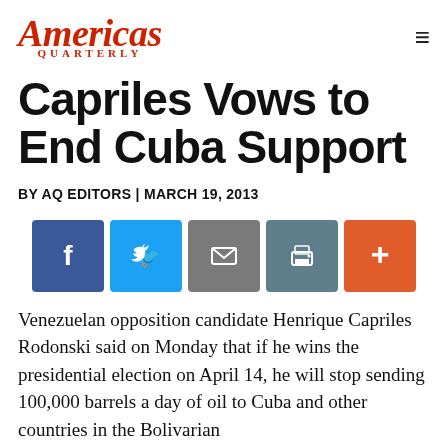Americas Quarterly
Capriles Vows to End Cuba Support
BY AQ EDITORS | MARCH 19, 2013
[Figure (infographic): Social share buttons: Facebook, Twitter, Email, Print, More (+)]
Venezuelan opposition candidate Henrique Capriles Rodonski said on Monday that if he wins the presidential election on April 14, he will stop sending 100,000 barrels a day of oil to Cuba and other countries in the Bolivarian